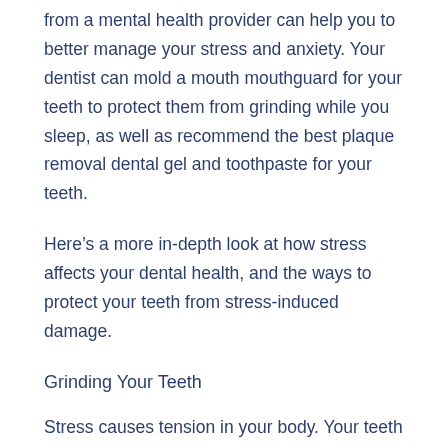from a mental health provider can help you to better manage your stress and anxiety. Your dentist can mold a mouth mouthguard for your teeth to protect them from grinding while you sleep, as well as recommend the best plaque removal dental gel and toothpaste for your teeth.
Here’s a more in-depth look at how stress affects your dental health, and the ways to protect your teeth from stress-induced damage.
Grinding Your Teeth
Stress causes tension in your body. Your teeth and jaw are no exception. Nocturnal and unconscious teeth grinding is a common occurrence in dental health, but common doesn’t mean benign.